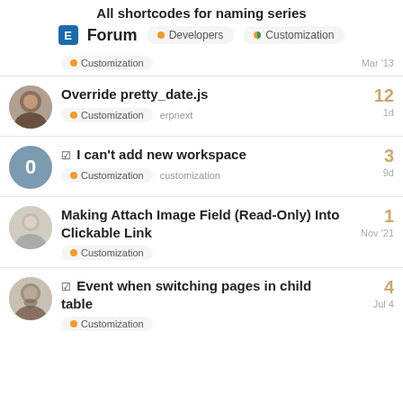All shortcodes for naming series
Forum  Developers  Customization
Customization  Mar '13
Override pretty_date.js
Customization  erpnext
12  1d
I can't add new workspace
Customization  customization
3  9d
Making Attach Image Field (Read-Only) Into Clickable Link
Customization
1  Nov '21
Event when switching pages in child table
Customization
4  Jul 4